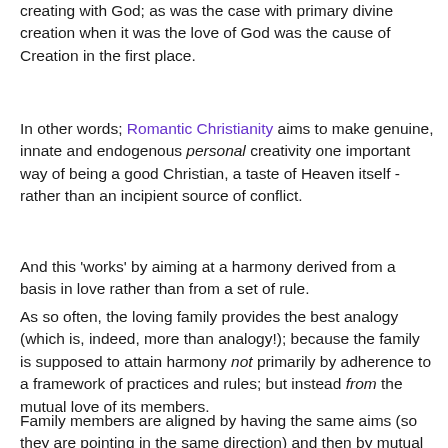creating with God; as was the case with primary divine creation when it was the love of God was the cause of Creation in the first place.
In other words; Romantic Christianity aims to make genuine, innate and endogenous personal creativity one important way of being a good Christian, a taste of Heaven itself - rather than an incipient source of conflict.
And this 'works' by aiming at a harmony derived from a basis in love rather than from a set of rule.
As so often, the loving family provides the best analogy (which is, indeed, more than analogy!); because the family is supposed to attain harmony not primarily by adherence to a framework of practices and rules; but instead from the mutual love of its members.
Family members are aligned by having the same aims (so they are pointing in the same direction) and then by mutual concern for the other members; a fluid kind of adjustment